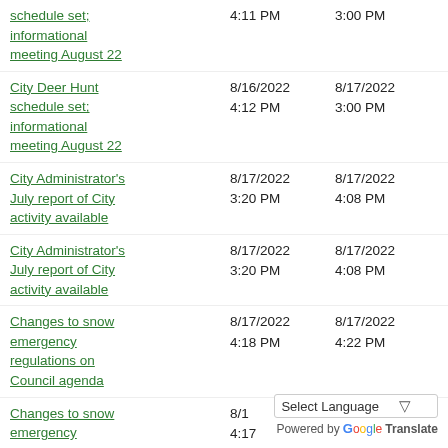schedule set; informational meeting August 22
City Deer Hunt schedule set; informational meeting August 22
City Administrator's July report of City activity available
City Administrator's July report of City activity available
Changes to snow emergency regulations on Council agenda
Changes to snow emergency